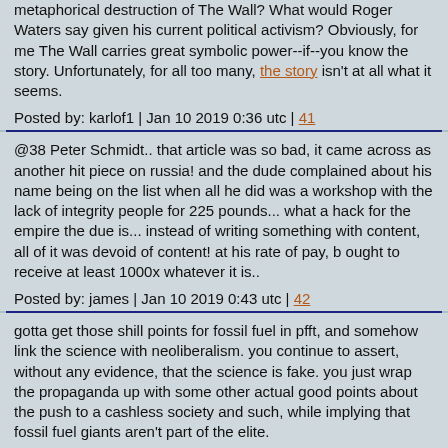metaphorical destruction of The Wall? What would Roger Waters say given his current political activism? Obviously, for me The Wall carries great symbolic power--if--you know the story. Unfortunately, for all too many, the story isn't at all what it seems.
Posted by: karlof1 | Jan 10 2019 0:36 utc | 41
@38 Peter Schmidt.. that article was so bad, it came across as another hit piece on russia! and the dude complained about his name being on the list when all he did was a workshop with the lack of integrity people for 225 pounds... what a hack for the empire the due is... instead of writing something with content, all of it was devoid of content! at his rate of pay, b ought to receive at least 1000x whatever it is..
Posted by: james | Jan 10 2019 0:43 utc | 42
gotta get those shill points for fossil fuel in pfft, and somehow link the science with neoliberalism. you continue to assert, without any evidence, that the science is fake. you just wrap the propaganda up with some other actual good points about the push to a cashless society and such, while implying that fossil fuel giants aren't part of the elite.
Posted by: pretzelattack | Jan 10 2019 1:03 utc | 43